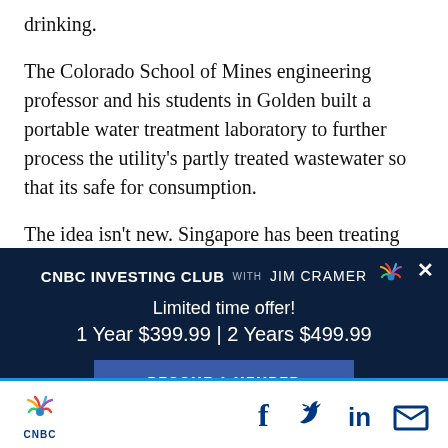drinking.
The Colorado School of Mines engineering professor and his students in Golden built a portable water treatment laboratory to further process the utility's partly treated wastewater so that its safe for consumption.
The idea isn't new. Singapore has been treating
[Figure (infographic): CNBC Investing Club advertisement overlay with dark navy background. Shows 'CNBC INVESTING CLUB with JIM CRAMER' header with peacock logo, 'Limited time offer!' text, '1 Year $399.99 | 2 Years $499.99' pricing, and a 'BECOME A MEMBER' button. Has a close (X) button in top right corner.]
CNBC logo with social media icons: Facebook, Twitter, LinkedIn, Email